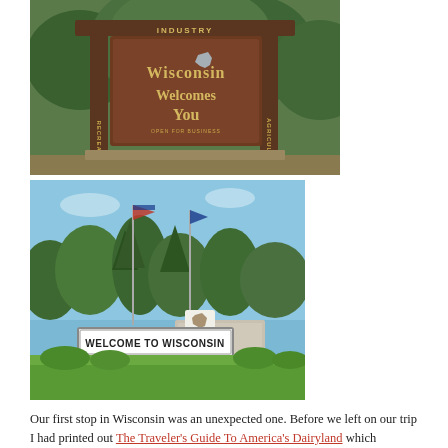[Figure (photo): Wisconsin Welcomes You sign — large brown wooden sign with 'INDUSTRY' at top, 'RECREATION' on left post, 'AGRICULTURE' on right post, and 'Wisconsin Welcomes You' in the center, surrounded by green trees]
[Figure (photo): Welcome to Wisconsin roadside sign — white sign reading 'WELCOME TO WISCONSIN' with Wisconsin state shape logo, flagpoles with flags, green trees and blue sky in background, neatly landscaped grounds]
Our first stop in Wisconsin was an unexpected one. Before we left on our trip I had printed out The Traveler's Guide To America's Dairyland which